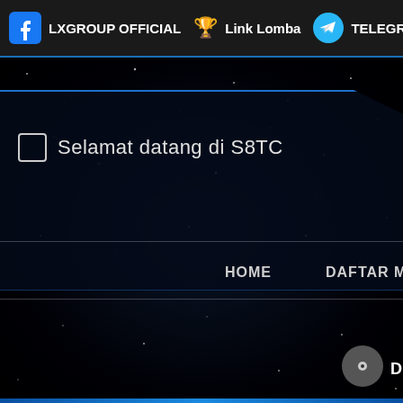LXGROUP OFFICIAL 🏆 Link Lomba TELEGRAM
Selamat datang di S8TC
HOME   DAFTAR MEMBER   C